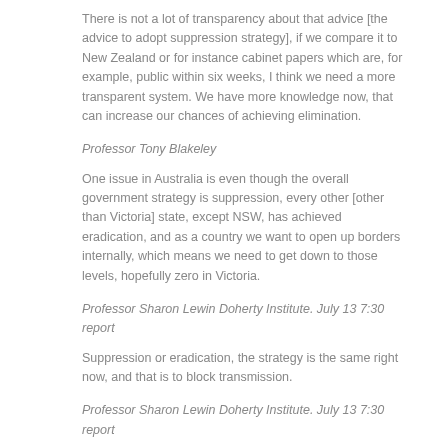There is not a lot of transparency about that advice [the advice to adopt suppression strategy], if we compare it to New Zealand or for instance cabinet papers which are, for example, public within six weeks, I think we need a more transparent system. We have more knowledge now, that can increase our chances of achieving elimination.
Professor Tony Blakeley
One issue in Australia is even though the overall government strategy is suppression, every other [other than Victoria] state, except NSW, has achieved eradication, and as a country we want to open up borders internally, which means we need to get down to those levels, hopefully zero in Victoria.
Professor Sharon Lewin Doherty Institute. July 13 7:30 report
Suppression or eradication, the strategy is the same right now, and that is to block transmission.
Professor Sharon Lewin Doherty Institute. July 13 7:30 report
The argument against elimination of spread, is that it extracts a greater economic cost, with longer harsher lockdowns. But Tony Blakely argues that Melbourne is already taking steps that could lead to eradication. Schools are closed except for year 11s and 12s, and the city is in lockdown for 6 weeks, the same length as New Zealand